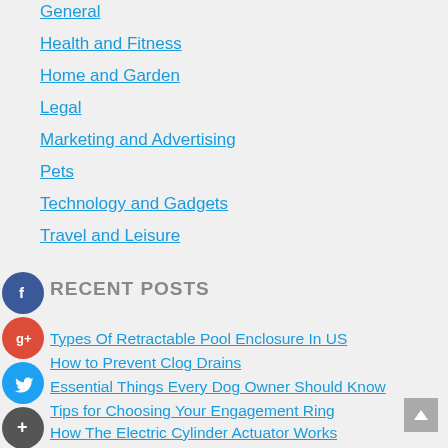General
Health and Fitness
Home and Garden
Legal
Marketing and Advertising
Pets
Technology and Gadgets
Travel and Leisure
RECENT POSTS
Types Of Retractable Pool Enclosure In US
How to Prevent Clog Drains
Essential Things Every Dog Owner Should Know
Tips for Choosing Your Engagement Ring
How The Electric Cylinder Actuator Works